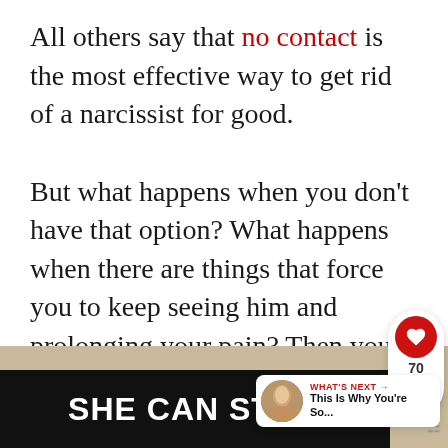All others say that no contact is the most effective way to get rid of a narcissist for good.

But what happens when you don't have that option? What happens when there are things that force you to keep seeing him and prolonging your pain? Then you use the Gray Rock method.
[Figure (screenshot): Social media widget showing a red heart/like button with count 70, and a share icon below]
[Figure (screenshot): What's Next widget showing a thumbnail photo and text 'This Is Why You're So...']
[Figure (screenshot): Advertisement banner with tan/beige background and black bar reading 'SHE CAN STEM' in white bold text, with a logo on the right]